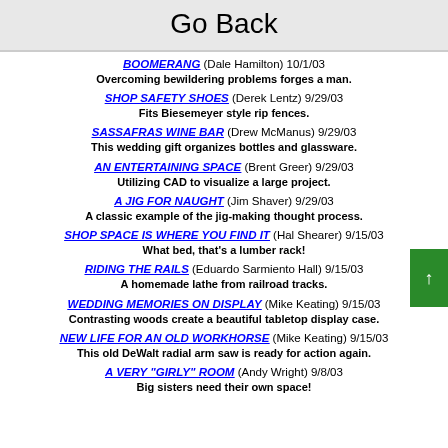Go Back
BOOMERANG (Dale Hamilton) 10/1/03 — Overcoming bewildering problems forges a man.
SHOP SAFETY SHOES (Derek Lentz) 9/29/03 — Fits Biesemeyer style rip fences.
SASSAFRAS WINE BAR (Drew McManus) 9/29/03 — This wedding gift organizes bottles and glassware.
AN ENTERTAINING SPACE (Brent Greer) 9/29/03 — Utilizing CAD to visualize a large project.
A JIG FOR NAUGHT (Jim Shaver) 9/29/03 — A classic example of the jig-making thought process.
SHOP SPACE IS WHERE YOU FIND IT (Hal Shearer) 9/15/03 — What bed, that's a lumber rack!
RIDING THE RAILS (Eduardo Sarmiento Hall) 9/15/03 — A homemade lathe from railroad tracks.
WEDDING MEMORIES ON DISPLAY (Mike Keating) 9/15/03 — Contrasting woods create a beautiful tabletop display case.
NEW LIFE FOR AN OLD WORKHORSE (Mike Keating) 9/15/03 — This old DeWalt radial arm saw is ready for action again.
A VERY "GIRLY" ROOM (Andy Wright) 9/8/03 — Big sisters need their own space!